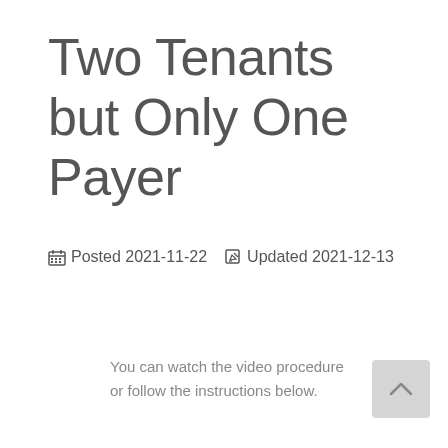Two Tenants but Only One Payer
📅 Posted 2021-11-22  ✎ Updated 2021-12-13
You can watch the video procedure or follow the instructions below.